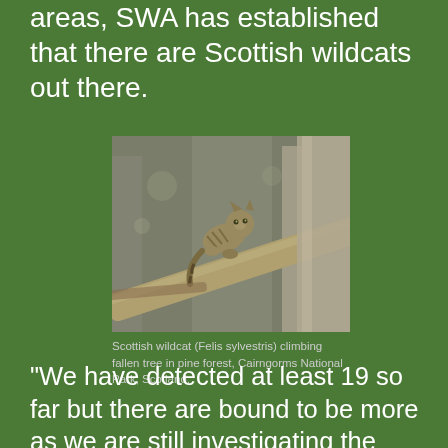areas, SWA has established that there are Scottish wildcats out there.
[Figure (photo): Scottish wildcat (Felis sylvestris) climbing a fallen tree branch in a pine forest setting]
Scottish wildcat (Felis sylvestris) climbing fallen tree in pine forest, Cairngorms National Park, Scotland.
“We have detected at least 19 so far but there are bound to be more as we are still investigating the data from the camera traps. That is surely good news.